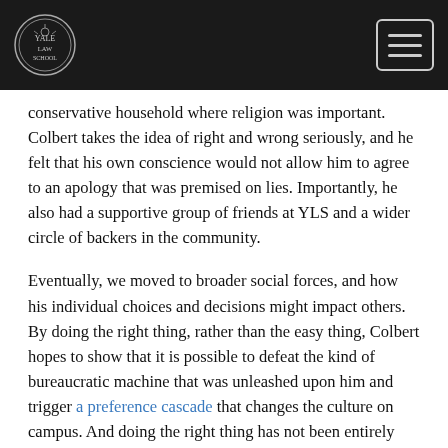[Yale Law School logo] [Menu button]
conservative household where religion was important. Colbert takes the idea of right and wrong seriously, and he felt that his own conscience would not allow him to agree to an apology that was premised on lies. Importantly, he also had a supportive group of friends at YLS and a wider circle of backers in the community.
Eventually, we moved to broader social forces, and how his individual choices and decisions might impact others. By doing the right thing, rather than the easy thing, Colbert hopes to show that it is possible to defeat the kind of bureaucratic machine that was unleashed upon him and trigger a preference cascade that changes the culture on campus. And doing the right thing has not been entirely easy, as Colbert admits to being uncomfortable with realizing how others at YLS viewed him purely through a racial lens, as well as the fact that many prominent organizations accused him of being a racist.
Overall, perhaps the take-home lesson is that it doesn't take an exceptional person to take on the system. Just someone